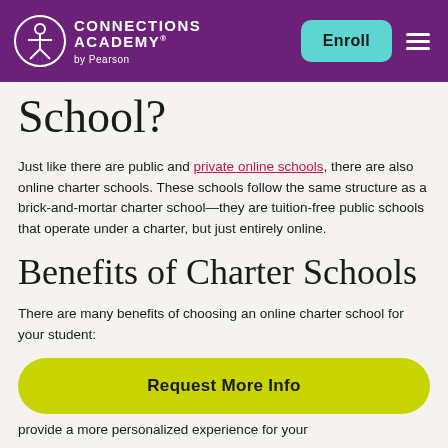Connections Academy by Pearson — Enroll
School?
Just like there are public and private online schools, there are also online charter schools. These schools follow the same structure as a brick-and-mortar charter school—they are tuition-free public schools that operate under a charter, but just entirely online.
Benefits of Charter Schools
There are many benefits of choosing an online charter school for your student:
[Figure (other): Yellow-green rounded button reading 'Request More Info']
provide a more personalized experience for your